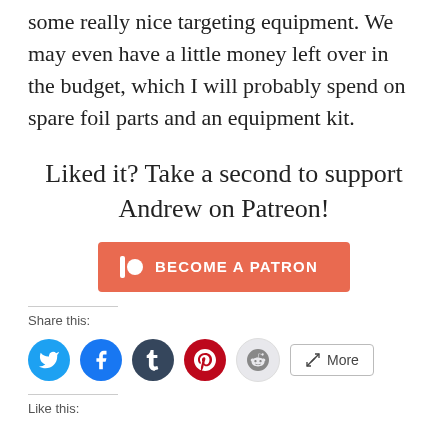some really nice targeting equipment. We may even have a little money left over in the budget, which I will probably spend on spare foil parts and an equipment kit.
Liked it? Take a second to support Andrew on Patreon!
[Figure (other): Patreon 'Become a Patron' button in coral/red-orange color with Patreon logo icon]
Share this:
[Figure (infographic): Row of social sharing icon buttons: Twitter (blue), Facebook (blue), Tumblr (dark), Pinterest (red), Reddit (light grey), and a 'More' button]
Like this: